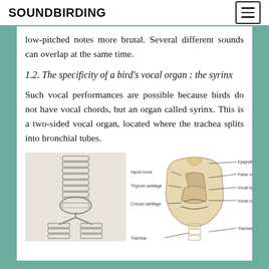SOUNDBIRDING
low-pitched notes more brutal. Several different sounds can overlap at the same time.
1.2. The specificity of a bird's vocal organ : the syrinx
Such vocal performances are possible because birds do not have vocal chords, but an organ called syrinx. This is a two-sided vocal organ, located where the trachea splits into bronchial tubes.
[Figure (illustration): Left: anatomical illustration of the syrinx (bird vocal organ) showing trachea splitting into bronchial tubes. Right: detailed labeled diagram of human/bird larynx anatomy with labels: Hyoid bone, Epiglottis, Thyroid cartilage, False vocal cords, Vocal ligament, Cricoid cartilage, Vocal cords, Trachea, Tracheal cartilage.]